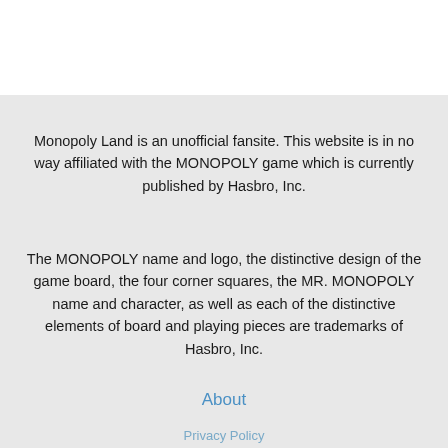Monopoly Land is an unofficial fansite. This website is in no way affiliated with the MONOPOLY game which is currently published by Hasbro, Inc.
The MONOPOLY name and logo, the distinctive design of the game board, the four corner squares, the MR. MONOPOLY name and character, as well as each of the distinctive elements of board and playing pieces are trademarks of Hasbro, Inc.
About
Privacy Policy